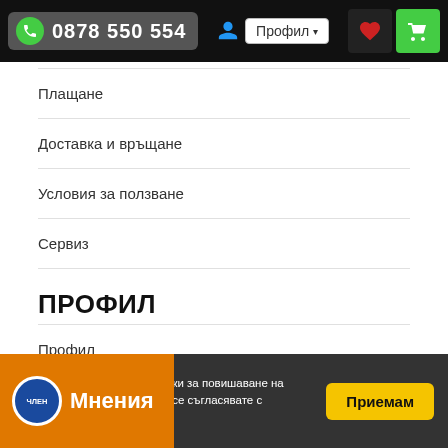0878 550 554  Профил
Плащане
Доставка и връщане
Условия за ползване
Сервиз
ПРОФИЛ
Профил
История на поръчките
Известяване за продукти
Абониране за новини
Datacom.bg използва бисквитки за повишаване на ефективността на сайта, вие се съгласявате с то... Приемам
Мнения